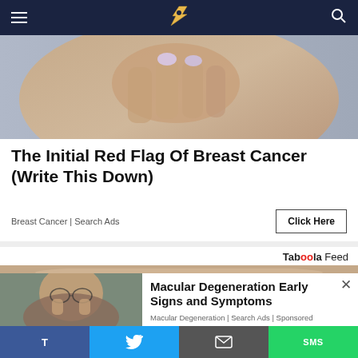Navigation bar with hamburger menu, logo, and search icon
[Figure (photo): Close-up photo of a woman's hand touching her chest/breast area, manicured nails with light purple polish]
The Initial Red Flag Of Breast Cancer (Write This Down)
Breast Cancer | Search Ads
Click Here
Taboola Feed
[Figure (photo): Top portion of a person's forehead/face, gray background]
[Figure (photo): Man rubbing his eyes, appears to be experiencing eye discomfort]
Macular Degeneration Early Signs and Symptoms
Macular Degeneration | Search Ads | Sponsored
T  [Twitter]  [Email]  SMS